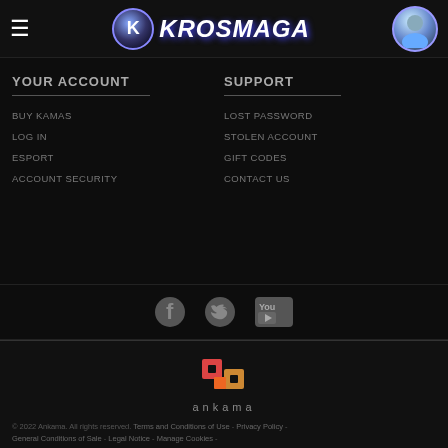Krosmaga
YOUR ACCOUNT
BUY KAMAS
LOG IN
ESPORT
ACCOUNT SECURITY
SUPPORT
LOST PASSWORD
STOLEN ACCOUNT
GIFT CODES
CONTACT US
[Figure (logo): Social media icons: Facebook, Twitter, YouTube]
[Figure (logo): Ankama logo with stylized icon and ankama text]
© 2022 Ankama. All rights reserved. Terms and Conditions of Use - Privacy Policy - General Conditions of Sale - Legal Notice - Manage Cookies -
[Figure (other): PEGI 7 rating badge and PEGI content descriptor badge]